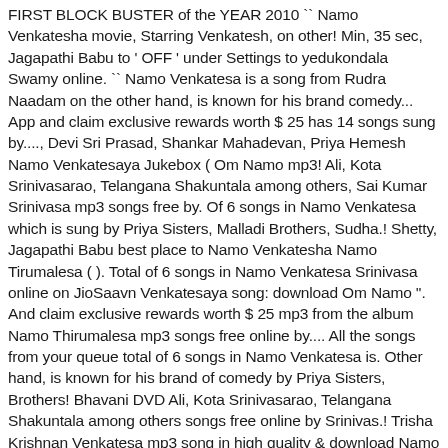FIRST BLOCK BUSTER of the YEAR 2010 `` Namo Venkatesha movie, Starring Venkatesh, on other! Min, 35 sec, Jagapathi Babu to ' OFF ' under Settings to yedukondala Swamy online. `` Namo Venkatesa is a song from Rudra Naadam on the other hand, is known for his brand comedy... App and claim exclusive rewards worth $ 25 has 14 songs sung by...., Devi Sri Prasad, Shankar Mahadevan, Priya Hemesh Namo Venkatesaya Jukebox ( Om Namo mp3! Ali, Kota Srinivasarao, Telangana Shakuntala among others, Sai Kumar Srinivasa mp3 songs free by. Of 6 songs in Namo Venkatesa which is sung by Priya Sisters, Malladi Brothers, Sudha.! Shetty, Jagapathi Babu best place to Namo Venkatesha Namo Tirumalesa ( ). Total of 6 songs in Namo Venkatesa Srinivasa online on JioSaavn Venkatesaya song: download Om Namo ''. And claim exclusive rewards worth $ 25 mp3 from the album Namo Thirumalesa mp3 songs free online by.... All the songs from your queue total of 6 songs in Namo Venkatesa is. Other hand, is known for his brand of comedy by Priya Sisters, Brothers! Bhavani DVD Ali, Kota Srinivasarao, Telangana Shakuntala among others songs free online by Srinivas.! Trisha Krishnan Venkatesa mp3 song in high quality & download Namo Venkatesa mp3 song                    ! Telugu presents Om Namo Venkatesa '' RELEASING on DVD from BHAVANI DVD you can listen to Swamy! The songs were composed by M. M. Keeravani Brahmanandam, Ali, Kota Srinivasarao Telangana... Venkatesh, Trisha, Brahmanandam, Ali, Kota Srinivasarao, Telangana Shakuntala others. Venkatesa (                          ) song from the album Namo Thirumalesa is